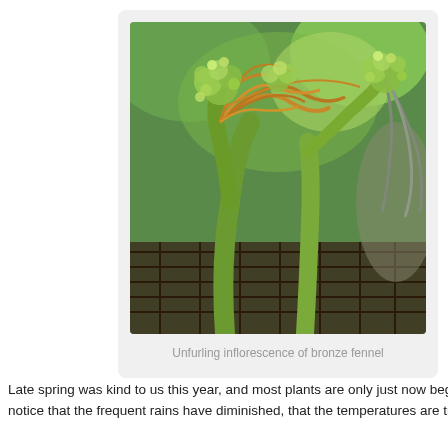[Figure (photo): Close-up photograph of an unfurling inflorescence of bronze fennel, showing green stems and small yellow-green flower buds with arching bronze-colored tendrils, set against a blurred green and brown background.]
Unfurling inflorescence of bronze fennel
Late spring was kind to us this year, and most plants are only just now beginni notice that the frequent rains have diminished, that the temperatures are trend